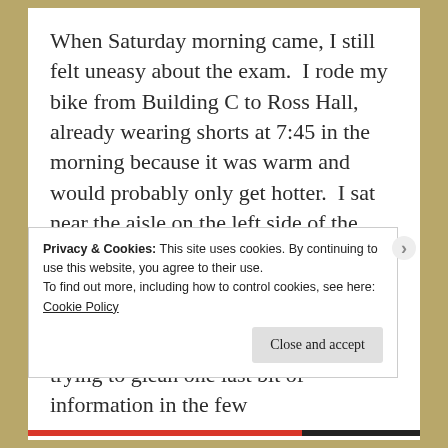When Saturday morning came, I still felt uneasy about the exam.  I rode my bike from Building C to Ross Hall, already wearing shorts at 7:45 in the morning because it was warm and would probably only get hotter.  I sat near the aisle on the left side of the lecture hall (my left, the instructor's right). As the rest of the class arrived, I nervously reread the notes I had retyped and printed the night before, trying to glean one last bit of information in the few
Privacy & Cookies: This site uses cookies. By continuing to use this website, you agree to their use.
To find out more, including how to control cookies, see here:
Cookie Policy
Close and accept